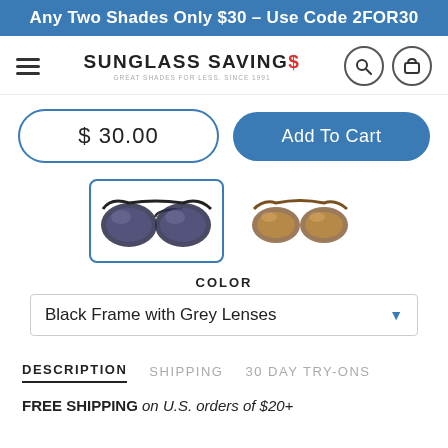Any Two Shades Only $30 - Use Code 2FOR30
[Figure (logo): Sunglass Savings logo with hamburger menu, search icon, and cart icon]
$ 30.00
Add To Cart
[Figure (photo): Two product thumbnails: black frame with grey lenses (selected), and brown/tortoise frame with brown lenses]
COLOR
Black Frame with Grey Lenses
DESCRIPTION  SHIPPING  30 DAY TRY-ONS
FREE SHIPPING on U.S. orders of $20+